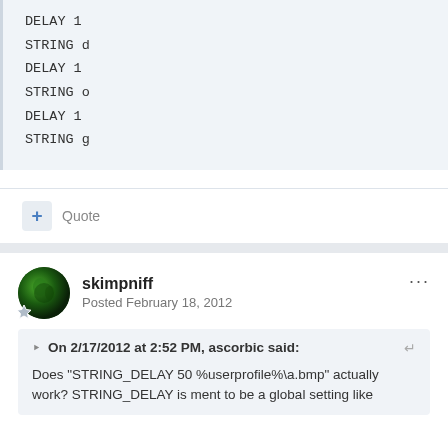DELAY 1
STRING d
DELAY 1
STRING o
DELAY 1
STRING g
Quote
skimpniff
Posted February 18, 2012
On 2/17/2012 at 2:52 PM, ascorbic said:
Does "STRING_DELAY 50 %userprofile%\a.bmp" actually work? STRING_DELAY is ment to be a global setting like